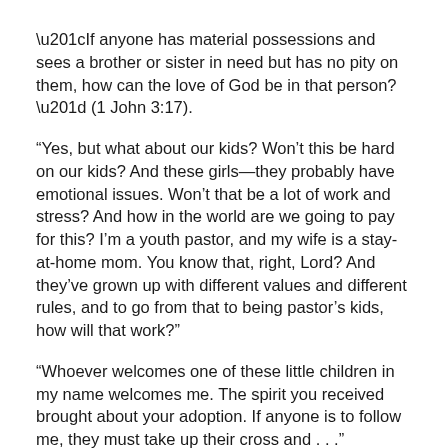“If anyone has material possessions and sees a brother or sister in need but has no pity on them, how can the love of God be in that person?” (1 John 3:17).
“Yes, but what about our kids? Won’t this be hard on our kids? And these girls—they probably have emotional issues. Won’t that be a lot of work and stress? And how in the world are we going to pay for this? I’m a youth pastor, and my wife is a stay-at-home mom. You know that, right, Lord? And they’ve grown up with different values and different rules, and to go from that to being pastor’s kids, how will that work?”
“Whoever welcomes one of these little children in my name welcomes me. The spirit you received brought about your adoption. If anyone is to follow me, they must take up their cross and . . .”
“OK, OK, I get it.”
It didn’t help that I had just started reading Francis Chan’s book, You and Me Forever, which I had picked